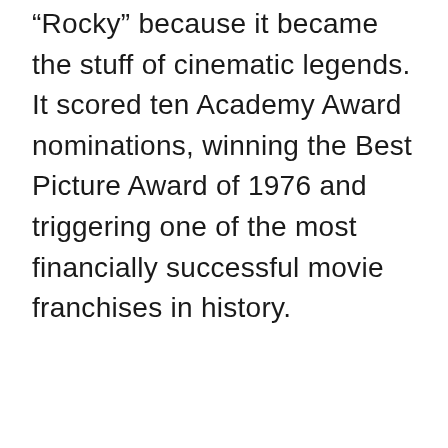“Rocky” because it became the stuff of cinematic legends. It scored ten Academy Award nominations, winning the Best Picture Award of 1976 and triggering one of the most financially successful movie franchises in history.